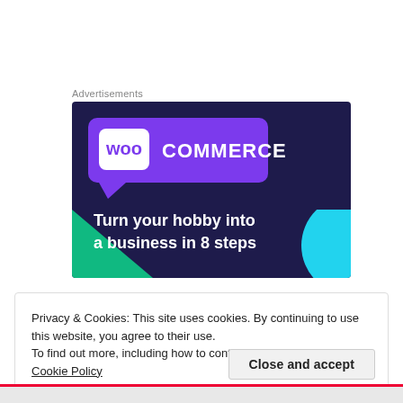Advertisements
[Figure (illustration): WooCommerce advertisement banner with dark navy/purple background, teal and cyan decorative shapes, WooCommerce logo in speech bubble, and text 'Turn your hobby into a business in 8 steps']
Privacy & Cookies: This site uses cookies. By continuing to use this website, you agree to their use.
To find out more, including how to control cookies, see here: Cookie Policy
Close and accept